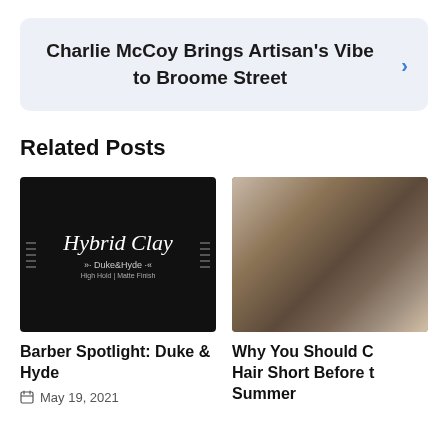Charlie McCoy Brings Artisan's Vibe to Broome Street
Related Posts
[Figure (photo): Product photo of Hybrid Clay by Duke & Hyde, High Hold Matte Finish, on black background with decorative side stripes]
Barber Spotlight: Duke & Hyde
May 19, 2021
[Figure (photo): Close-up photo of tattooed hands cutting/styling hair with a comb on a client with brown hair]
Why You Should C Hair Short Before t Summer